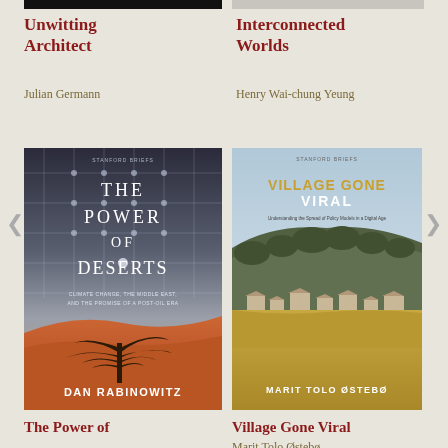[Figure (illustration): Partial top edge of book cover - dark/black background for 'Unwitting Architect' by Julian Germann]
[Figure (illustration): Partial top edge of book cover - light gray/cream for 'Interconnected Worlds' by Henry Wai-chung Yeung]
Unwitting Architect
Julian Germann
Interconnected Worlds
Henry Wai-chung Yeung
[Figure (photo): Book cover of 'The Power of Deserts' by Dan Rabinowitz. Dark sky with grid network pattern in upper half, lone desert tree against orange-red sand dunes in lower half. Title text in large white serif font. Subtitle: CLIMATE CHANGE, THE MIDDLE EAST, AND THE PROMISE OF A POST-OIL ERA.]
[Figure (photo): Book cover of 'Village Gone Viral' by Marit Tolo Østebø. Light blue sky at top, green wooded hill in middle, African village with small buildings and dry golden grassland. Title in gold/yellow and white text. Subtitle: Understanding the Spread of Policy Models in a Digital Age.]
The Power of
Village Gone Viral
Marit Tolo Østebø